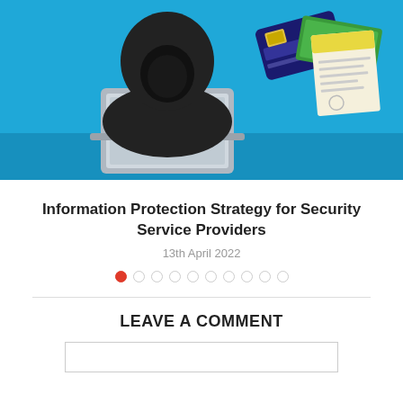[Figure (illustration): Illustration of a hacker in a black hoodie using a laptop, with a credit card and money/document scattered on a blue background]
Information Protection Strategy for Security Service Providers
13th April 2022
[Figure (infographic): Carousel dot navigation: 10 dots, first dot is filled red, the rest are outlined circles]
LEAVE A COMMENT